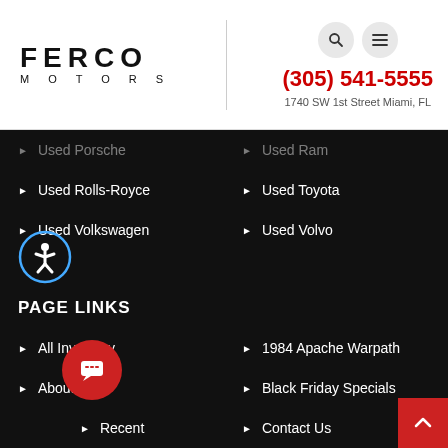[Figure (logo): Ferco Motors logo with stylized text FERCO MOTORS]
(305) 541-5555
1740 SW 1st Street Miami, FL
Used Porsche
Used Ram
Used Rolls-Royce
Used Toyota
Used Volkswagen
Used Volvo
PAGE LINKS
All Inventory
1984 Apache Warpath
About Us
Black Friday Specials
Most Recent
Contact Us
Customer Testimonials
Financing